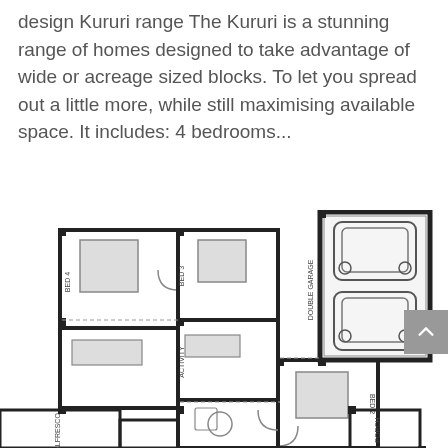design Kururi range The Kururi is a stunning range of homes designed to take advantage of wide or acreage sized blocks. To let you spread out a little more, while still maximising available space. It includes: 4 bedrooms...
[Figure (engineering-diagram): House floor plan showing multiple bedrooms (Bed 1, Bed 2, Bed 3, Bed 4), a double garage with two cars, activity room, laundry, bathroom, porch, alfresco, and other rooms. The plan is a partial view cropped at the bottom.]